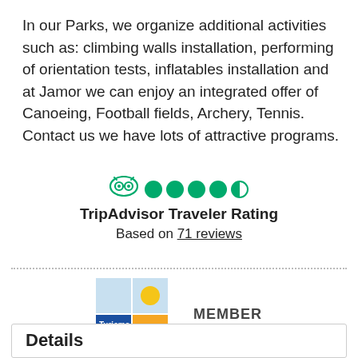In our Parks, we organize additional activities such as: climbing walls installation, performing of orientation tests, inflatables installation and at Jamor we can enjoy an integrated offer of Canoeing, Football fields, Archery, Tennis. Contact us we have lots of attractive programs.
[Figure (other): TripAdvisor owl logo with 4.5 green circle rating dots, bold title 'TripAdvisor Traveler Rating', and underlined text 'Based on 71 reviews']
[Figure (logo): Turismo de Lisboa logo — colorful grid logo with light blue, yellow sun, blue, red, and yellow-orange squares, with text 'Turismo de Lisboa']
MEMBER
Details